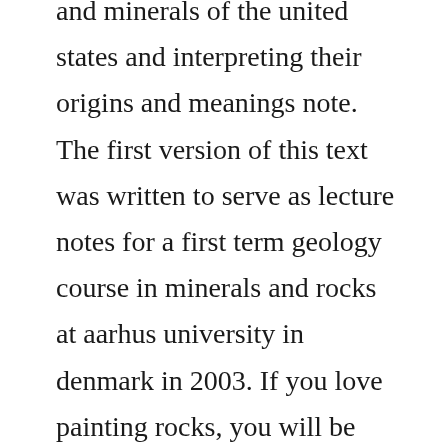and minerals of the united states and interpreting their origins and meanings note. The first version of this text was written to serve as lecture notes for a first term geology course in minerals and rocks at aarhus university in denmark in 2003. If you love painting rocks, you will be obsessed with these 27 cool. Please scroll down for resources mentioned in this post.
New theory of the earth, is a book written by don l. Having intelligence dating ebooks free download in all kind, vip escorts pune makes